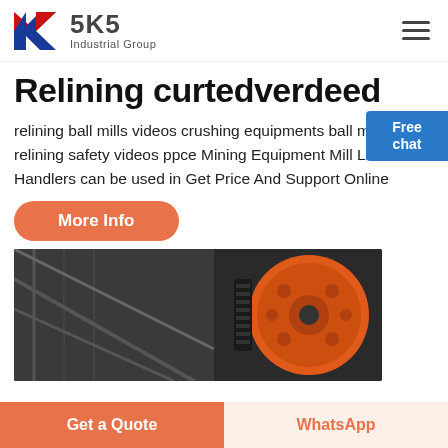[Figure (logo): SKS Industrial Group logo with red and blue K letter mark and brand name]
Relining curtedverdeed
relining ball mills videos crushing equipments ball mill relining safety videos ppce Mining Equipment Mill Liner Handlers can be used in Get Price And Support Online
[Figure (photo): Industrial machinery with orange/red pulley wheel and dark metal frame components]
Get a Quote   WhatsApp